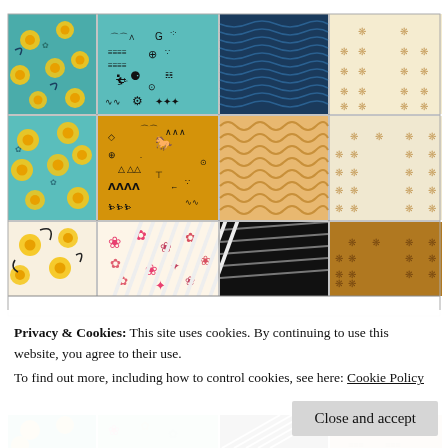[Figure (photo): A grid of fabric/textile patterns showing various designs: yellow flowers on teal, tribal/petroglyph symbols on teal, dark blue wave pattern, cream with small cross/flower motifs, yellow flowers on teal (second row), tribal symbols on tan/gold, tan/orange wave pattern, cream with cross motifs, white with yellow flowers and dark leaves, pink/red floral on cream, black and white diagonal stripe, tan/brown with cross motifs, and partial bottom row.]
Privacy & Cookies: This site uses cookies. By continuing to use this website, you agree to their use.
To find out more, including how to control cookies, see here: Cookie Policy
Close and accept